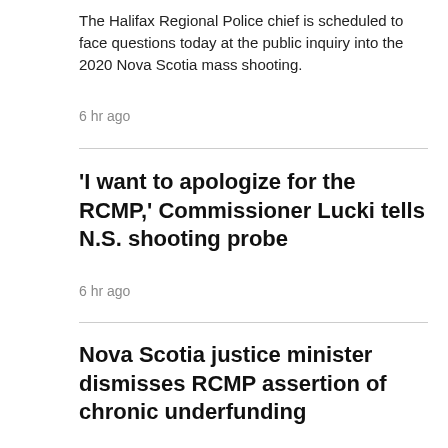The Halifax Regional Police chief is scheduled to face questions today at the public inquiry into the 2020 Nova Scotia mass shooting.
6 hr ago
'I want to apologize for the RCMP,' Commissioner Lucki tells N.S. shooting probe
6 hr ago
Nova Scotia justice minister dismisses RCMP assertion of chronic underfunding
LONDON >
[Figure (photo): Outdoor scene with trees and a red sign partially visible reading 'FIND MY']